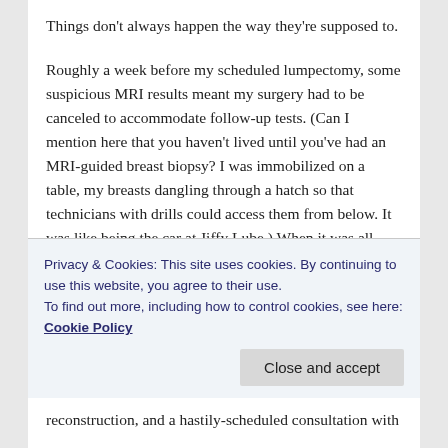Things don't always happen the way they're supposed to.
Roughly a week before my scheduled lumpectomy, some suspicious MRI results meant my surgery had to be canceled to accommodate follow-up tests. (Can I mention here that you haven't lived until you've had an MRI-guided breast biopsy? I was immobilized on a table, my breasts dangling through a hatch so that technicians with drills could access them from below. It was like being the car at Jiffy Lube.)  When it was all over, the surgical plan had changed to mastectomy.
Privacy & Cookies: This site uses cookies. By continuing to use this website, you agree to their use.
To find out more, including how to control cookies, see here: Cookie Policy
reconstruction, and a hastily-scheduled consultation with